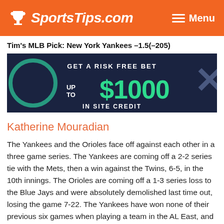SportsTips.com  Menu
Tim's MLB Pick: New York Yankees -1.5(-205)
[Figure (infographic): Advertisement banner: dark navy background with green text reading 'GET A RISK FREE BET UP TO $1000 IN SITE CREDIT', decorative circular and X shapes on sides]
Katherine Mouradian
The Yankees and the Orioles face off against each other in a three game series. The Yankees are coming off a 2-2 series tie with the Mets, then a win against the Twins, 6-5, in the 10th innings. The Orioles are coming off a 1-3 series loss to the Blue Jays and were absolutely demolished last time out, losing the game 7-22. The Yankees have won none of their previous six games when playing a team in the AL East, and they have won 51 of their previous 75 games on a Tuesday.